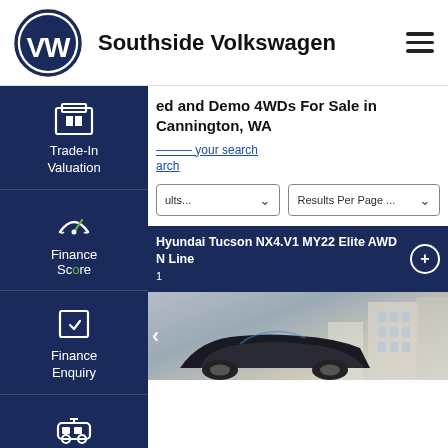[Figure (logo): Volkswagen circular logo and Southside Volkswagen dealer name with hamburger menu icon]
Used and Demo 4WDs For Sale in Cannington, WA
Refine your search
Start a new search
[Figure (screenshot): Sort results dropdown and Results Per Page dropdown]
[Figure (sidebar): Side navigation panel with Trade-In Valuation, Finance Score, Finance Enquiry, and Test Drive options]
Hyundai Tucson NX4.V1 MY22 Elite AWD N Line
[Figure (photo): Hyundai Tucson dark car photo with building background]